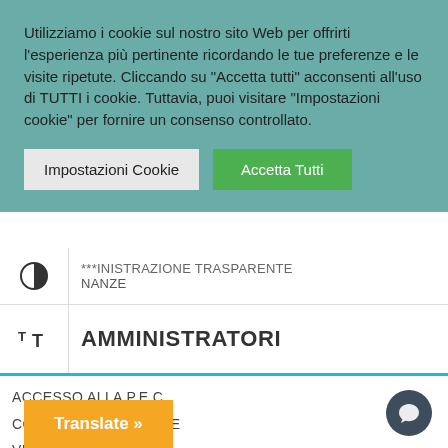Utilizziamo i cookie sul nostro sito Web per offrirti l'esperienza più pertinente ricordando le tue preferenze e le visite ripetute. Cliccando su "Accetta tutti" acconsenti all'uso di TUTTI i cookie. Tuttavia, puoi visitare "Impostazioni cookie" per fornire un consenso controllato.
[Figure (screenshot): Two buttons: 'Impostazioni Cookie' (grey) and 'Accetta Tutti' (green)]
AMMINISTRAZIONE TRASPARENTE
FINANZE
AMMINISTRATORI
ACCESSO ALLA P.E.C.
CONSIGLIO COMUNALE
VISUALIZZATORE ATTI
WEB MAIL COMUNESGV.IT
Translate »